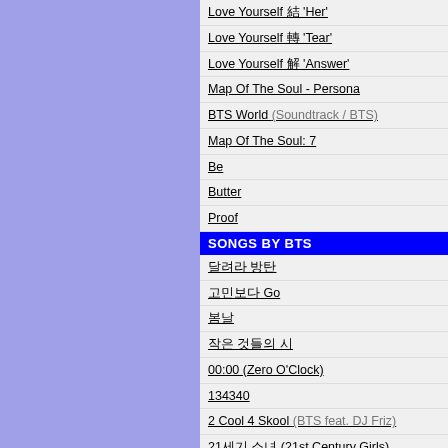Love Yourself 結 'Her'
Love Yourself 轉 'Tear'
Love Yourself 解 'Answer'
Map Of The Soul - Persona
BTS World (Soundtrack / BTS)
Map Of The Soul: 7
Be
Butter
Proof
SONGS BY BTS
달려라 방탄
고민보다 Go
봄날
작은 것들의 시
00:00 (Zero O'Clock)
134340
2 Cool 4 Skool (BTS feat. DJ Friz)
21세기 소녀 (21st Century Girls)
24/7=Heaven
2nd Grade
A Brand New Day (BTS & Zara Larsson)
A Supplementary Story: You Never Walk Alone
Airplane Pt. 2
Airplane Pt. 2 [Japanese Version]
All Night (BTS & Juice WRLD)
Am I Wrong
Anpanman
Answer: Love Myself
Bad Decisions (Benny Blanco, BTS & Snoop Dogg)
Baepsae / Silver Spoon
Best Of Me
Best Of Me (Japanese Version)